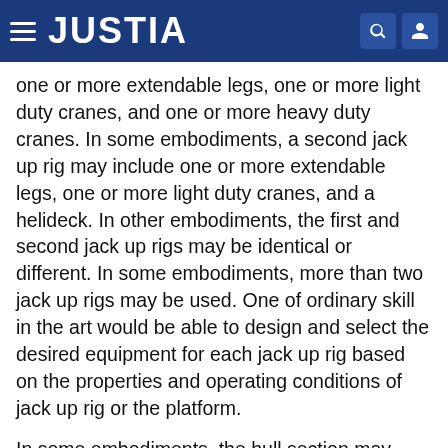JUSTIA
one or more extendable legs, one or more light duty cranes, and one or more heavy duty cranes. In some embodiments, a second jack up rig may include one or more extendable legs, one or more light duty cranes, and a helideck. In other embodiments, the first and second jack up rigs may be identical or different. In some embodiments, more than two jack up rigs may be used. One of ordinary skill in the art would be able to design and select the desired equipment for each jack up rig based on the properties and operating conditions of jack up rig or the platform.
In some embodiments, the hull section may include multiple-deck segments. Each multiple-deck segment may be known as a block and the blocks are put together, i.e., “block construction.” In some modern shipyards many components may be pre-installed on